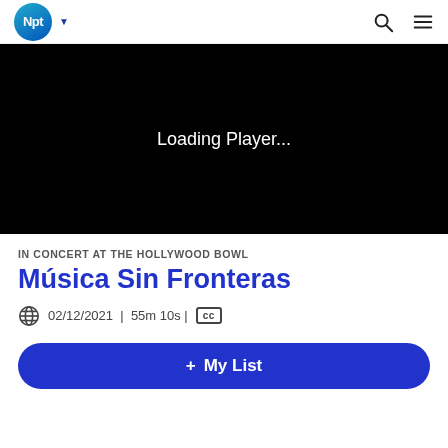NPT logo with navigation header
[Figure (screenshot): Video player loading screen with black background and white text reading 'Loading Player...']
IN CONCERT AT THE HOLLYWOOD BOWL
Música Sin Fronteras
02/12/2021 | 55m 10s | CC
+ My List